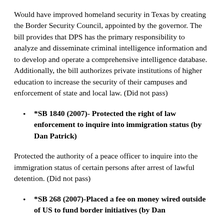Would have improved homeland security in Texas by creating the Border Security Council, appointed by the governor. The bill provides that DPS has the primary responsibility to analyze and disseminate criminal intelligence information and to develop and operate a comprehensive intelligence database. Additionally, the bill authorizes private institutions of higher education to increase the security of their campuses and enforcement of state and local law. (Did not pass)
*SB 1840 (2007)- Protected the right of law enforcement to inquire into immigration status (by Dan Patrick)
Protected the authority of a peace officer to inquire into the immigration status of certain persons after arrest of lawful detention. (Did not pass)
*SB 268 (2007)-Placed a fee on money wired outside of US to fund border initiatives (by Dan